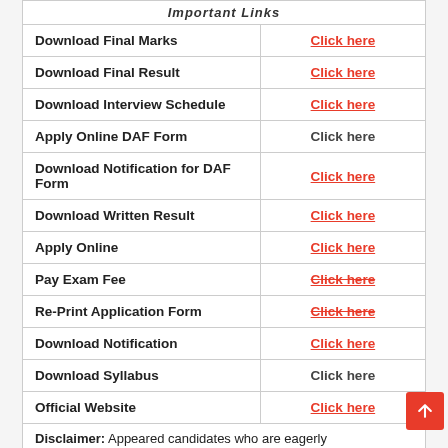| Important Links |  |
| --- | --- |
| Download Final Marks | Click here |
| Download Final Result | Click here |
| Download Interview Schedule | Click here |
| Apply Online DAF Form | Click here |
| Download Notification for DAF Form | Click here |
| Download Written Result | Click here |
| Apply Online | Click here |
| Pay Exam Fee | Click here |
| Re-Print Application Form | Click here |
| Download Notification | Click here |
| Download Syllabus | Click here |
| Official Website | Click here |
| Disclaimer: Appeared candidates who are eagerly |  |